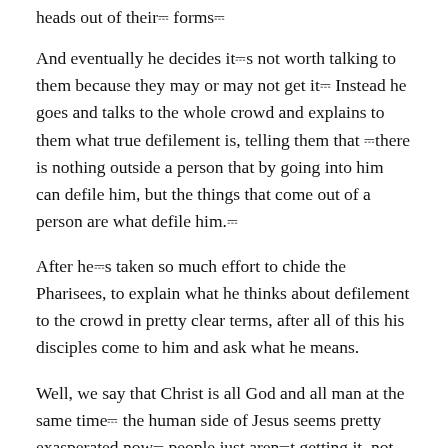heads out of their forms.
And eventually he decides it’s not worth talking to them because they may or may not get it’ Instead he goes and talks to the whole crowd and explains to them what true defilement is, telling them that “there is nothing outside a person that by going into him can defile him, but the things that come out of a person are what defile him.”
After he’s taken so much effort to chide the Pharisees, to explain what he thinks about defilement to the crowd in pretty clear terms, after all of this his disciples come to him and ask what he means.
Well, we say that Christ is all God and all man at the same time’ the human side of Jesus seems pretty exasperated now’ people just aren’t getting it, not even his disciples.